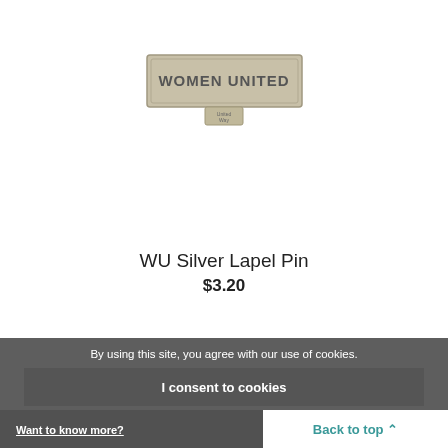[Figure (photo): A silver lapel pin with 'WOMEN UNITED' text engraved on it, with a small United Way logo below.]
WU Silver Lapel Pin
$3.20
By using this site, you agree with our use of cookies.
I consent to cookies
Want to know more?
Read our Cookie Policy
Back to top